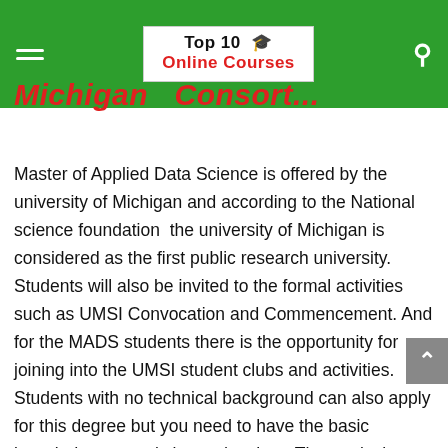Top 10 🎓 Online Courses
Michigan Consort...
Master of Applied Data Science is offered by the university of Michigan and according to the National science foundation the university of Michigan is considered as the first public research university. Students will also be invited to the formal activities such as UMSI Convocation and Commencement. And for the MADS students there is the opportunity for joining into the UMSI student clubs and activities. Students with no technical background can also apply for this degree but you need to have the basic knowledge on statistics and python. The curriculum includes many themes and applications. The curriculum of this degree is